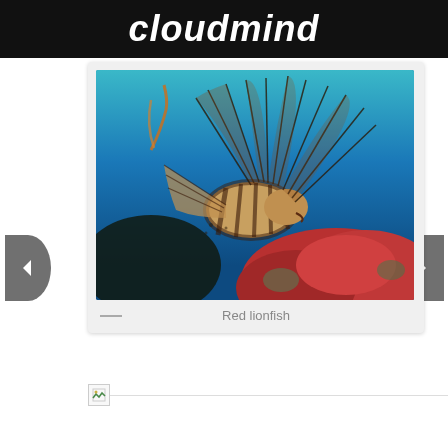cloudmind
[Figure (photo): Red lionfish underwater photograph showing a lionfish with distinctive striped fins and spines against a blue ocean background with red coral]
Red lionfish
[Figure (other): Broken image placeholder with a horizontal divider line to the right]